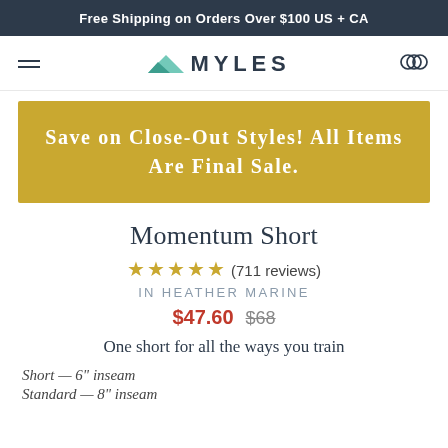Free Shipping on Orders Over $100 US + CA
[Figure (logo): Myles apparel logo with mountain icon and hamburger menu and cart icon in navigation bar]
[Figure (infographic): Gold banner with text: Save on Close-Out Styles! All Items Are Final Sale.]
Momentum Short
★★★★★ (711 reviews)
IN HEATHER MARINE
$47.60  $68
One short for all the ways you train
Short — 6" inseam
Standard — 8" inseam